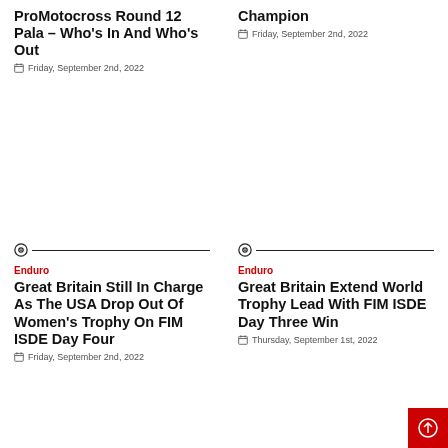ProMotocross Round 12 Pala – Who's In And Who's Out
Friday, September 2nd, 2022
Champion
Friday, September 2nd, 2022
Enduro
Great Britain Still In Charge As The USA Drop Out Of Women's Trophy On FIM ISDE Day Four
Friday, September 2nd, 2022
Enduro
Great Britain Extend World Trophy Lead With FIM ISDE Day Three Win
Thursday, September 1st, 2022